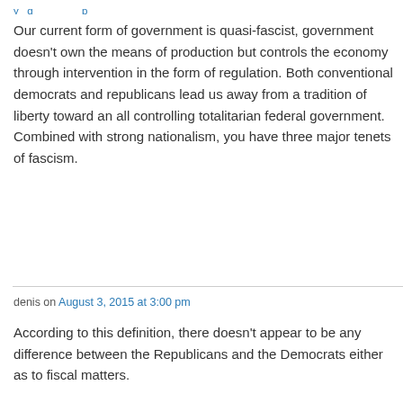Our current form of government is quasi-fascist, government doesn't own the means of production but controls the economy through intervention in the form of regulation. Both conventional democrats and republicans lead us away from a tradition of liberty toward an all controlling totalitarian federal government. Combined with strong nationalism, you have three major tenets of fascism.
denis on August 3, 2015 at 3:00 pm
According to this definition, there doesn't appear to be any difference between the Republicans and the Democrats either as to fiscal matters.